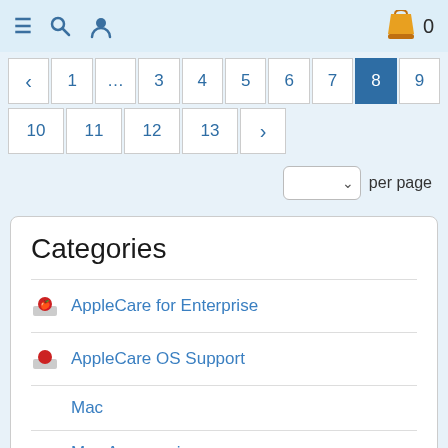≡ 🔍 👤  🛍 0
‹ 1 ... 3 4 5 6 7 8 9
10 11 12 13 ›
per page
Categories
AppleCare for Enterprise
AppleCare OS Support
Mac
Mac Accessories